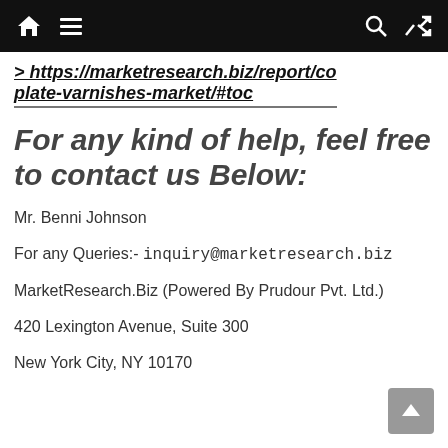Navigation bar with home, menu, search, and shuffle icons
> https://marketresearch.biz/report/co plate-varnishes-market/#toc
For any kind of help, feel free to contact us Below:
Mr. Benni Johnson
For any Queries:- inquiry@marketresearch.biz
MarketResearch.Biz (Powered By Prudour Pvt. Ltd.)
420 Lexington Avenue, Suite 300
New York City, NY 10170